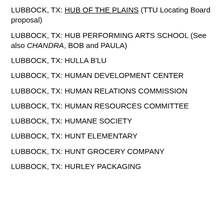LUBBOCK, TX: HUB OF THE PLAINS (TTU Locating Board proposal)
LUBBOCK, TX: HUB PERFORMING ARTS SCHOOL (See also CHANDRA, BOB and PAULA)
LUBBOCK, TX: HULLA B'LU
LUBBOCK, TX: HUMAN DEVELOPMENT CENTER
LUBBOCK, TX: HUMAN RELATIONS COMMISSION
LUBBOCK, TX: HUMAN RESOURCES COMMITTEE
LUBBOCK, TX: HUMANE SOCIETY
LUBBOCK, TX: HUNT ELEMENTARY
LUBBOCK, TX: HUNT GROCERY COMPANY
LUBBOCK, TX: HURLEY PACKAGING